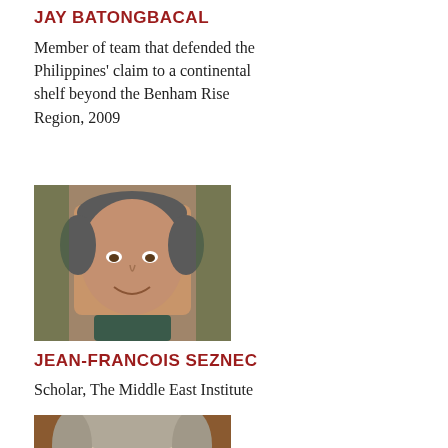JAY BATONGBACAL
Member of team that defended the Philippines' claim to a continental shelf beyond the Benham Rise Region, 2009
[Figure (photo): Headshot of Jean-Francois Seznec, middle-aged man with short gray hair, smiling, outdoors background]
JEAN-FRANCOIS SEZNEC
Scholar, The Middle East Institute
[Figure (photo): Partial headshot of a man with glasses and gray/white hair, warm brown background, cropped at bottom of page]